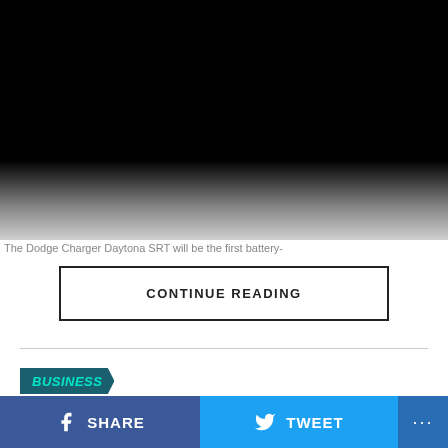[Figure (photo): Dark/black image with gradient fade at bottom, appears to be a car photo (Dodge Charger Daytona SRT)]
The Dodge Charger Daytona SRT will be the first battery-
CONTINUE READING
BUSINESS
Brad Pitt foundation to pay
SHARE
TWEET
...